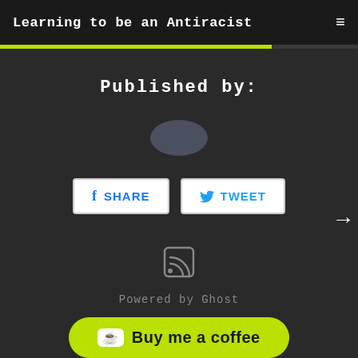Learning to be an Antiracist
Published by:
[Figure (other): Circular avatar placeholder, dark slate color]
[Figure (other): Social share buttons: SHARE (Facebook) and TWEET (Twitter)]
[Figure (other): RSS feed icon]
Powered by Ghost
Buy me a coffee